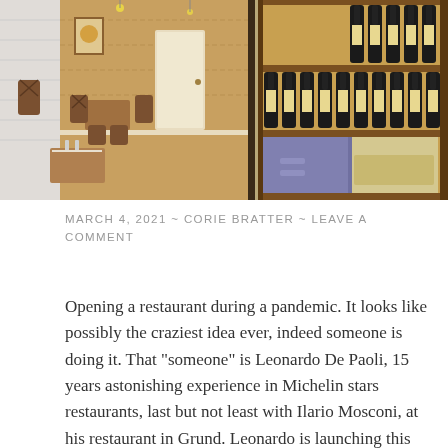[Figure (photo): Two-panel restaurant photo: left panel shows a dining room interior with wooden chairs and tables set for service, white brick walls and warm lighting; right panel shows wine bottles arranged on wooden shelving display.]
MARCH 4, 2021 ~ CORIE BRATTER ~ LEAVE A COMMENT
Opening a restaurant during a pandemic. It looks like possibly the craziest idea ever, indeed someone is doing it. That "someone" is Leonardo De Paoli, 15 years astonishing experience in Michelin stars restaurants, last but not least with Ilario Mosconi, at his restaurant in Grund. Leonardo is launching this week-end his first restaurant, "Oio -  Continue